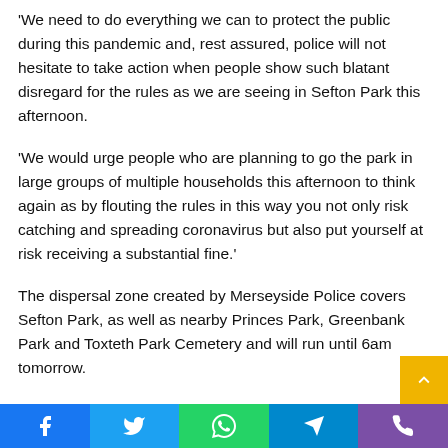'We need to do everything we can to protect the public during this pandemic and, rest assured, police will not hesitate to take action when people show such blatant disregard for the rules as we are seeing in Sefton Park this afternoon.
'We would urge people who are planning to go the park in large groups of multiple households this afternoon to think again as by flouting the rules in this way you not only risk catching and spreading coronavirus but also put yourself at risk receiving a substantial fine.'
The dispersal zone created by Merseyside Police covers Sefton Park, as well as nearby Princes Park, Greenbank Park and Toxteth Park Cemetery and will run until 6am tomorrow.